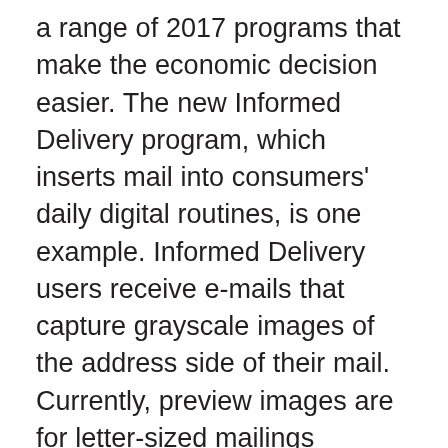a range of 2017 programs that make the economic decision easier. The new Informed Delivery program, which inserts mail into consumers' daily digital routines, is one example. Informed Delivery users receive e-mails that capture grayscale images of the address side of their mail. Currently, preview images are for letter-sized mailings processed through automated equipment, but flat mailings, such as magazines and catalogs, can be displayed if the mailer supplies a color image to be included in the Informed Delivery notifications. Under the program, marketers can take advantage of three potential touchpoints with one mail piece: an advance preview via e-mail/app, actually delivery in the mailbox, and inclusion of a